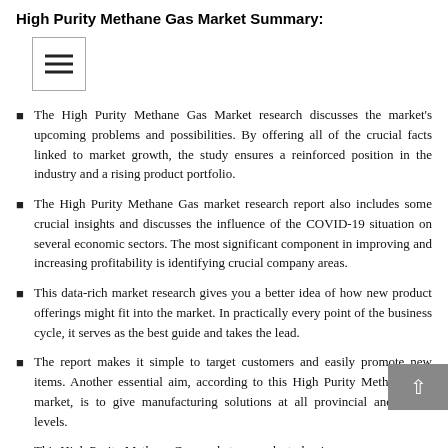High Purity Methane Gas Market Summary:
[Figure (other): Menu/hamburger icon button with three horizontal lines inside a bordered square]
The High Purity Methane Gas Market research discusses the market's upcoming problems and possibilities. By offering all of the crucial facts linked to market growth, the study ensures a reinforced position in the industry and a rising product portfolio.
The High Purity Methane Gas market research report also includes some crucial insights and discusses the influence of the COVID-19 situation on several economic sectors. The most significant component in improving and increasing profitability is identifying crucial company areas.
This data-rich market research gives you a better idea of how new product offerings might fit into the market. In practically every point of the business cycle, it serves as the best guide and takes the lead.
The report makes it simple to target customers and easily promote new items. Another essential aim, according to this High Purity Methane Gas market, is to give manufacturing solutions at all provincial and global levels.
This High Purity Methane Gas market research study gives a